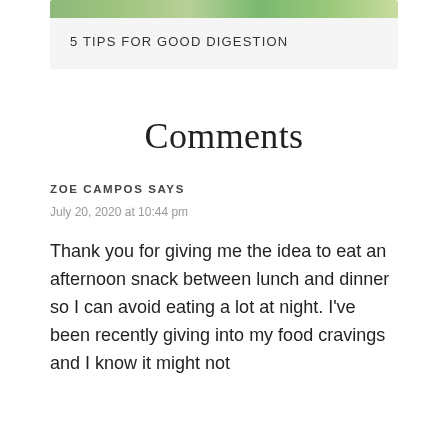[Figure (photo): Partial view of a blog post card showing green vegetables at the top, cropped]
5 TIPS FOR GOOD DIGESTION
Comments
ZOE CAMPOS SAYS
July 20, 2020 at 10:44 pm
Thank you for giving me the idea to eat an afternoon snack between lunch and dinner so I can avoid eating a lot at night. I've been recently giving into my food cravings and I know it might not